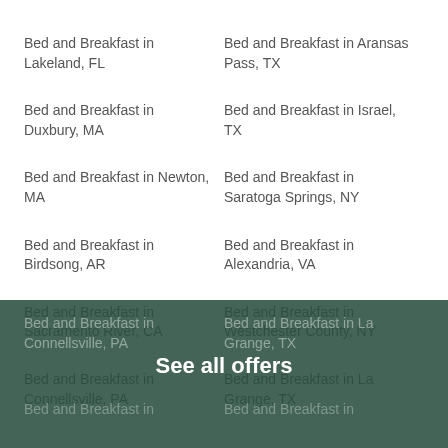Bed and Breakfast in Lakeland, FL
Bed and Breakfast in Aransas Pass, TX
Bed and Breakfast in Duxbury, MA
Bed and Breakfast in Israel, TX
Bed and Breakfast in Newton, MA
Bed and Breakfast in Saratoga Springs, NY
Bed and Breakfast in Birdsong, AR
Bed and Breakfast in Alexandria, VA
Bed and Breakfast in Sacramento River, CA
Bed and Breakfast in Westchester County, NY
Bed and Breakfast in Connellsville, PA
Bed and Breakfast in La Grange, TX
See all offers
Bed and Breakfast in
Bed and Breakfast in